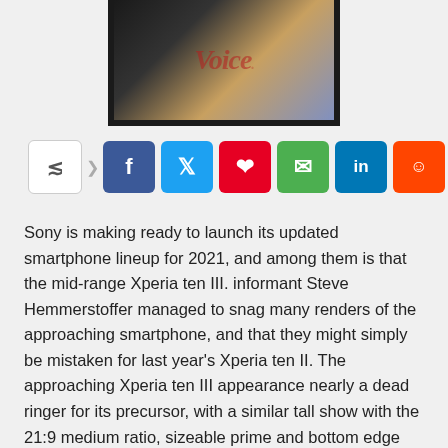[Figure (photo): Partial view of a Sony Xperia smartphone with a watermark reading 'voice' in red italic text on a gradient background.]
[Figure (infographic): Social media share bar with buttons for share (native), Facebook, Twitter, Pinterest, WhatsApp, LinkedIn, Reddit, and Telegram.]
Sony is making ready to launch its updated smartphone lineup for 2021, and among them is that the mid-range Xperia ten III. informant Steve Hemmerstoffer managed to snag many renders of the approaching smartphone, and that they might simply be mistaken for last year's Xperia ten II. The approaching Xperia ten III appearance nearly a dead ringer for its precursor, with a similar tall show with the 21:9 medium ratio, sizeable prime and bottom edge flanking the show, a rounded frame, and a triple camera setup on the rear. According to Hemmerstoffer, the device can see a minor specification update compared to the Xperia ten II. whereas he